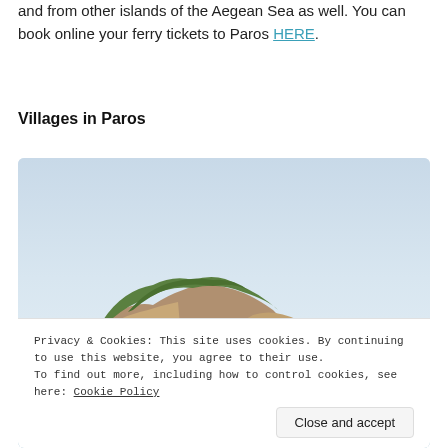and from other islands of the Aegean Sea as well. You can book online your ferry tickets to Paros HERE.
Villages in Paros
[Figure (photo): Aerial or coastal view of a rocky island or headland covered with green trees, with calm blue sea water, likely in the Aegean Sea near Paros, Greece. Small colorful boats visible at the bottom edge.]
Privacy & Cookies: This site uses cookies. By continuing to use this website, you agree to their use.
To find out more, including how to control cookies, see here: Cookie Policy
Close and accept